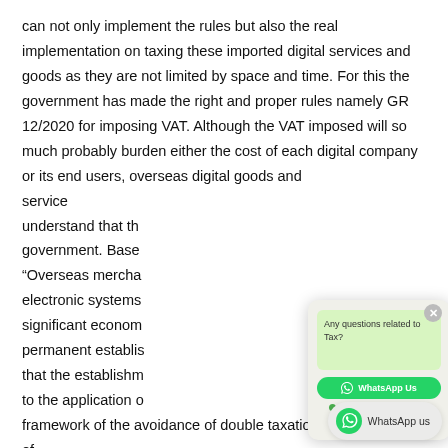can not only implement the rules but also the real implementation on taxing these imported digital services and goods as they are not limited by space and time. For this the government has made the right and proper rules namely GR 12/2020 for imposing VAT. Although the VAT imposed will so much probably burden either the cost of each digital company or its end users, overseas digital goods and service understand that th government. Base “Overseas mercha electronic systems significant econom permanent establis that the establishm to the application o framework of the avoidance of double taxation and prevention of tax evasion, foreign merchants, foreign service the trade provider through electronic customs (BPMSE) that most
[Figure (screenshot): WhatsApp chat popup widget with 'Any questions related to Tax?' message bubble in green, a WhatsApp Us button, and 'we are online | privacy policy' status. A floating WhatsApp button with 'WhatsApp us' label at bottom right.]